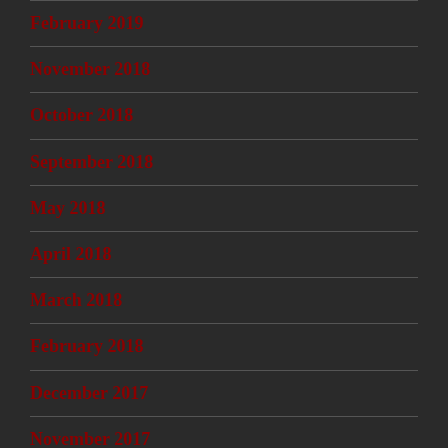February 2019
November 2018
October 2018
September 2018
May 2018
April 2018
March 2018
February 2018
December 2017
November 2017
October 2017